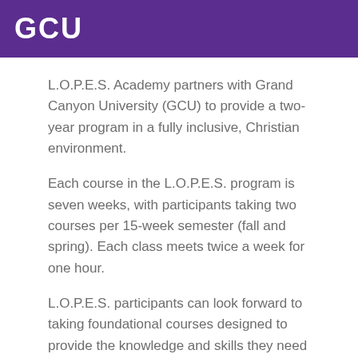GCU
L.O.P.E.S. Academy partners with Grand Canyon University (GCU) to provide a two-year program in a fully inclusive, Christian environment.
Each course in the L.O.P.E.S. program is seven weeks, with participants taking two courses per 15-week semester (fall and spring). Each class meets twice a week for one hour.
L.O.P.E.S. participants can look forward to taking foundational courses designed to provide the knowledge and skills they need for more independent living. These courses include: